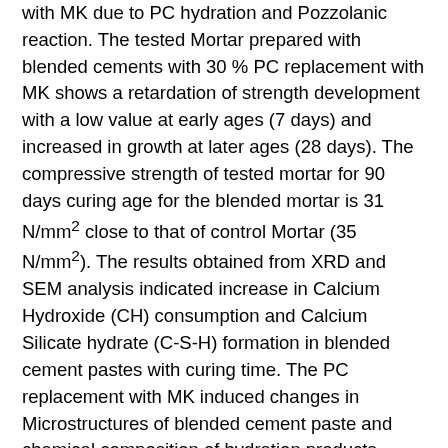with MK due to PC hydration and Pozzolanic reaction. The tested Mortar prepared with blended cements with 30 % PC replacement with MK shows a retardation of strength development with a low value at early ages (7 days) and increased in growth at later ages (28 days). The compressive strength of tested mortar for 90 days curing age for the blended mortar is 31 N/mm2 close to that of control Mortar (35 N/mm2). The results obtained from XRD and SEM analysis indicated increase in Calcium Hydroxide (CH) consumption and Calcium Silicate hydrate (C-S-H) formation in blended cement pastes with curing time. The PC replacement with MK induced changes in Microstructures of blended cement paste and chemical composition of hydration products. These results are potentials for modelling the behaviour of MK-PC blended cements.
References